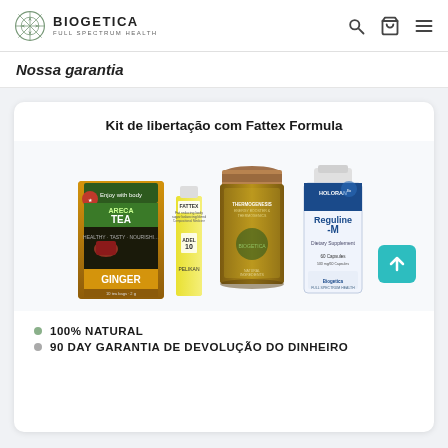[Figure (logo): Biogetica logo with snowflake/geometric icon and text 'BIOGETICA FULL SPECTRUM HEALTH']
BIOGETICA FULL SPECTRUM HEALTH
Nossa garantia
Kit de libertação com Fattex Formula
[Figure (photo): Product kit showing Areca Tea Ginger box, Fattex drops bottle, Thermogenesis supplement jar, and Holoran Reguline-M dietary supplement bottle]
100% NATURAL
90 DAY GARANTIA DE DEVOLUÇÃO DO DINHEIRO